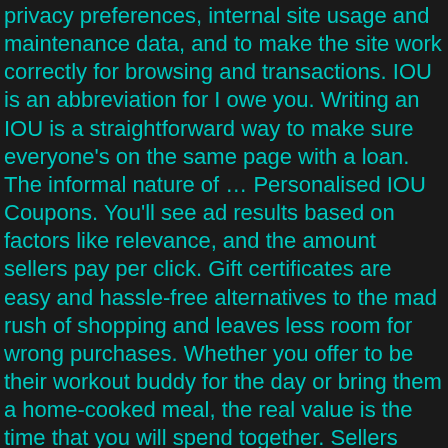privacy preferences, internal site usage and maintenance data, and to make the site work correctly for browsing and transactions. IOU is an abbreviation for I owe you. Writing an IOU is a straightforward way to make sure everyone's on the same page with a loan. The informal nature of … Personalised IOU Coupons. You'll see ad results based on factors like relevance, and the amount sellers pay per click. Gift certificates are easy and hassle-free alternatives to the mad rush of shopping and leaves less room for wrong purchases. Whether you offer to be their workout buddy for the day or bring them a home-cooked meal, the real value is the time that you will spend together. Sellers looking to grow their business and reach more interested buyers can use Etsy's advertising platform to promote their items. Select Printable IOU Certificates and Cards from These Freshly Designed Templates. We use cookies to make wikiHow great. Download the gift card template and play around with the font, colour, shape and placement of the graphics to make it your own. Washi Tape Printable Mini Gift Certificates. There are 20 designs available